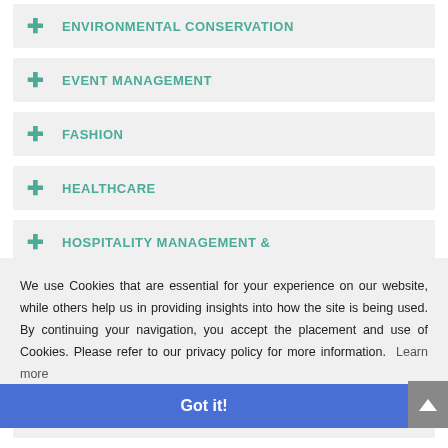+ ENVIRONMENTAL CONSERVATION
+ EVENT MANAGEMENT
+ FASHION
+ HEALTHCARE
+ HOSPITALITY MANAGEMENT &
We use Cookies that are essential for your experience on our website, while others help us in providing insights into how the site is being used. By continuing your navigation, you accept the placement and use of Cookies. Please refer to our privacy policy for more information. Learn more
+ JOURNALISM